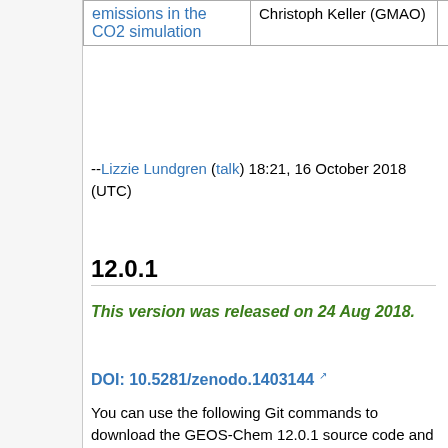|  | Christoph Keller (GMAO) |  |  |
| --- | --- | --- | --- |
| emissions in the CO2 simulation | Christoph Keller (GMAO) |  |  |
--Lizzie Lundgren (talk) 18:21, 16 October 2018 (UTC)
12.0.1
This version was released on 24 Aug 2018.
DOI: 10.5281/zenodo.1403144
You can use the following Git commands to download the GEOS-Chem 12.0.1 source code and GEOS-Chem Unit Tester package.
# Download the GEOS-Chem source
git clone https://github.com/g
cd Code.12.0.1

# Create and checkout a new br